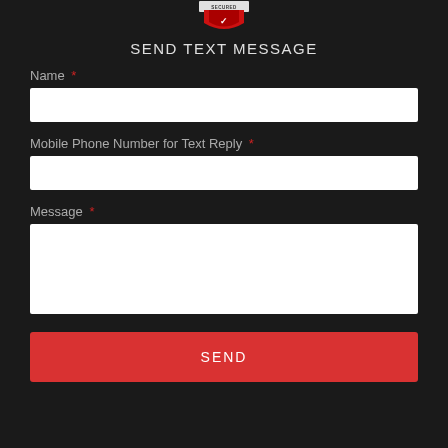[Figure (logo): A red shield/security logo with 'SECURED' text on a banner across it, partially cropped at top]
SEND TEXT MESSAGE
Name *
Mobile Phone Number for Text Reply *
Message *
SEND